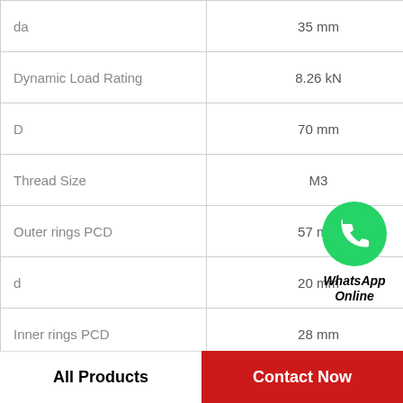| Property | Value |
| --- | --- |
| da | 35 mm |
| Dynamic Load Rating | 8.26 kN |
| D | 70 mm |
| Thread Size | M3 |
| Outer rings PCD | 57 mm |
| d | 20 mm |
| Inner rings PCD | 28 mm |
| B | 12 mm |
| Mounting Hole Size | 3.4 mm |
[Figure (logo): WhatsApp green circle logo with phone icon, with text 'WhatsApp Online' in bold italic below]
All Products
Contact Now